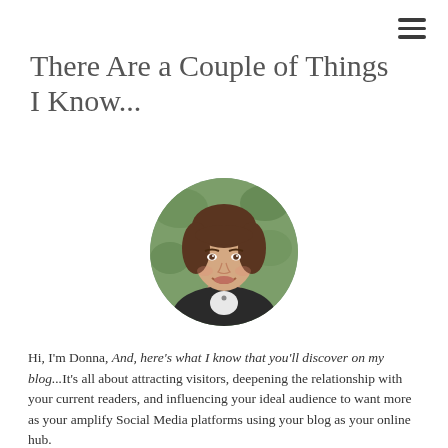There Are a Couple of Things I Know...
[Figure (photo): Circular portrait photo of a woman named Donna with short brown hair, smiling, wearing a dark top with white collar, outdoors with green foliage background.]
Hi, I'm Donna, And, here's what I know that you'll discover on my blog...It's all about attracting visitors, deepening the relationship with your current readers, and influencing your ideal audience to want more as your amplify Social Media platforms using your blog as your online hub.